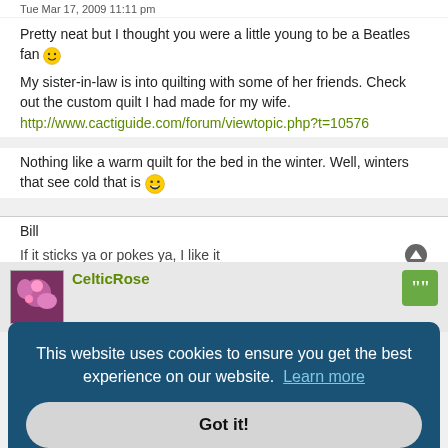Tue Mar 17, 2009 11:11 pm
Pretty neat but I thought you were a little young to be a Beatles fan 🙂
My sister-in-law is into quilting with some of her friends. Check out the custom quilt I had made for my wife.
http://www.cactiguide.com/forum/viewtopic.php?t=10576
Nothing like a warm quilt for the bed in the winter. Well, winters that see cold that is 😄
Bill
If it sticks ya or pokes ya, I like it
CelticRose
This website uses cookies to ensure you get the best experience on our website.  Learn more
Got it!